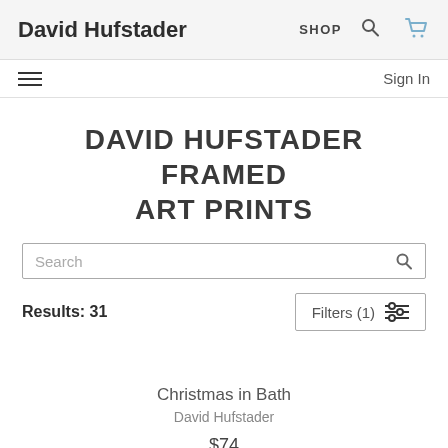David Hufstader  SHOP
Sign In
DAVID HUFSTADER FRAMED ART PRINTS
Search
Results: 31
Filters (1)
Christmas in Bath
David Hufstader
$74